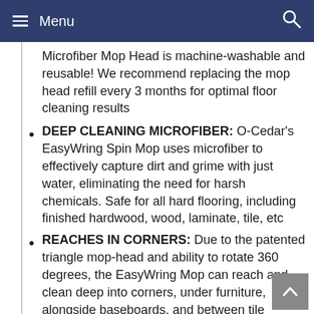Menu
Microfiber Mop Head is machine-washable and reusable! We recommend replacing the mop head refill every 3 months for optimal floor cleaning results
DEEP CLEANING MICROFIBER: O-Cedar's EasyWring Spin Mop uses microfiber to effectively capture dirt and grime with just water, eliminating the need for harsh chemicals. Safe for all hard flooring, including finished hardwood, wood, laminate, tile, etc
REACHES IN CORNERS: Due to the patented triangle mop-head and ability to rotate 360 degrees, the EasyWring Mop can reach and clean deep into corners, under furniture, alongside baseboards, and between tile
3 REFILLS = 9 MONTHS OF CLEANING: This